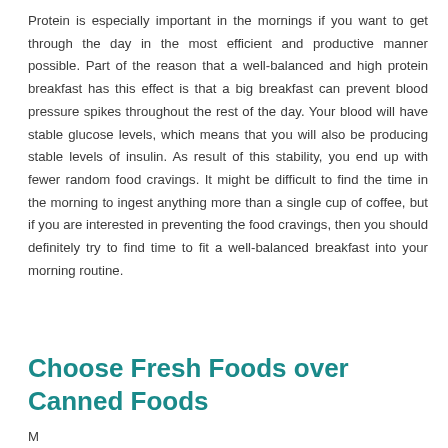Protein is especially important in the mornings if you want to get through the day in the most efficient and productive manner possible. Part of the reason that a well-balanced and high protein breakfast has this effect is that a big breakfast can prevent blood pressure spikes throughout the rest of the day. Your blood will have stable glucose levels, which means that you will also be producing stable levels of insulin. As result of this stability, you end up with fewer random food cravings. It might be difficult to find the time in the morning to ingest anything more than a single cup of coffee, but if you are interested in preventing the food cravings, then you should definitely try to find time to fit a well-balanced breakfast into your morning routine.
Choose Fresh Foods over Canned Foods
M...